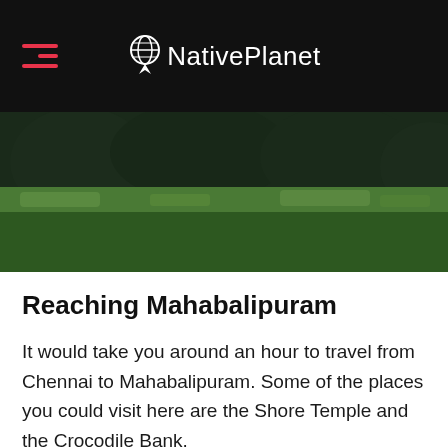NativePlanet
[Figure (photo): Green grass lawn with dark trees in the background]
Reaching Mahabalipuram
It would take you around an hour to travel from Chennai to Mahabalipuram. Some of the places you could visit here are the Shore Temple and the Crocodile Bank.